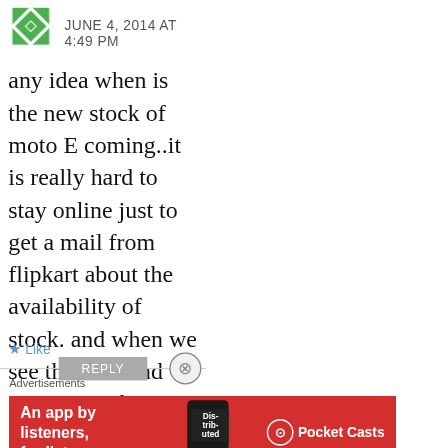[Figure (logo): Green geometric avatar icon with diamond/cross pattern]
JUNE 4, 2014 AT 4:49 PM
any idea when is the new stock of moto E coming..it is really hard to stay online just to get a mail from flipkart about the availability of stock. and when we see the mail and connect to the site it is out of stock again..

need help..
★ Like
REPLY
Advertisements
[Figure (infographic): Red Pocket Casts advertisement banner: 'An app by listeners, for listeners.' with phone image and Pocket Casts logo]